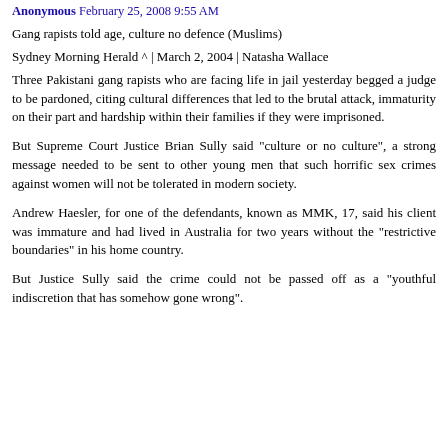Anonymous February 25, 2008 9:55 AM
Gang rapists told age, culture no defence (Muslims) Sydney Morning Herald ^ | March 2, 2004 | Natasha Wallace
Three Pakistani gang rapists who are facing life in jail yesterday begged a judge to be pardoned, citing cultural differences that led to the brutal attack, immaturity on their part and hardship within their families if they were imprisoned.
But Supreme Court Justice Brian Sully said "culture or no culture", a strong message needed to be sent to other young men that such horrific sex crimes against women will not be tolerated in modern society.
Andrew Haesler, for one of the defendants, known as MMK, 17, said his client was immature and had lived in Australia for two years without the "restrictive boundaries" in his home country.
But Justice Sully said the crime could not be passed off as a "youthful indiscretion that has somehow gone wrong".